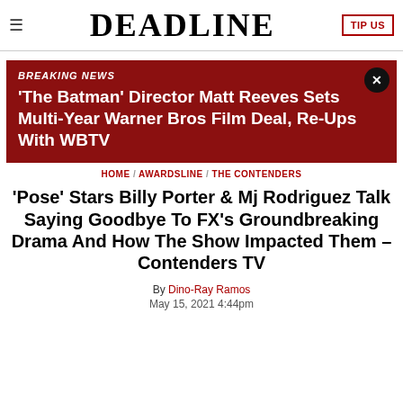≡  DEADLINE  TIP US
'The Batman' Director Matt Reeves Sets Multi-Year Warner Bros Film Deal, Re-Ups With WBTV
BREAKING NEWS
HOME / AWARDSLINE / THE CONTENDERS
'Pose' Stars Billy Porter & Mj Rodriguez Talk Saying Goodbye To FX's Groundbreaking Drama And How The Show Impacted Them – Contenders TV
By Dino-Ray Ramos
May 15, 2021 4:44pm